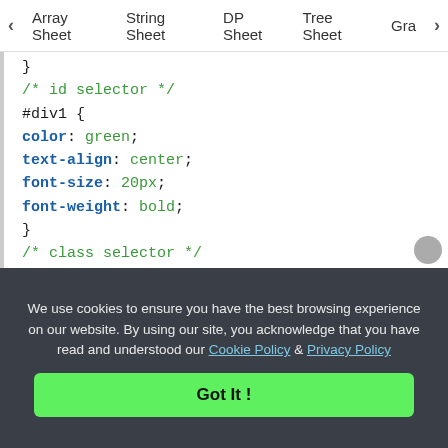◀ Array Sheet   String Sheet   DP Sheet   Tree Sheet   Gra▶
}
/* id selector */
#div1 {
color: green;
text-align: center;
font-size: 20px;
font-weight: bold;
}
/* class selector */
.div2 {
color: orange;
text-align: left;
font-size: 10px;
font-weight: bold;
}
We use cookies to ensure you have the best browsing experience on our website. By using our site, you acknowledge that you have read and understood our Cookie Policy & Privacy Policy
Got It !